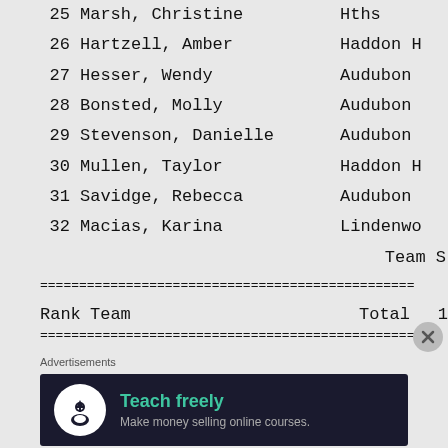| # | Name | Team |
| --- | --- | --- |
| 25 | Marsh, Christine | Hths |
| 26 | Hartzell, Amber | Haddon H |
| 27 | Hesser, Wendy | Audubon |
| 28 | Bonsted, Molly | Audubon |
| 29 | Stevenson, Danielle | Audubon |
| 30 | Mullen, Taylor | Haddon H |
| 31 | Savidge, Rebecca | Audubon |
| 32 | Macias, Karina | Lindenwo |
Team S
| Rank | Team | Total | 1 |
| --- | --- | --- | --- |
Advertisements
[Figure (screenshot): Advertisement banner: 'Teach freely — Make money selling online courses.' Dark background with teal text and white circular icon.]